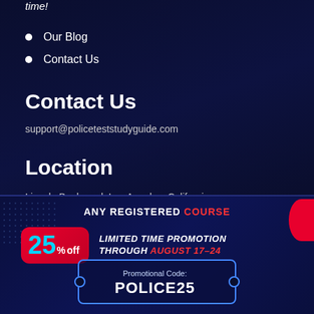time!
Our Blog
Contact Us
Contact Us
support@policeteststudyguide.com
Location
Lincoln Boulevard, Los Angeles, California
Follow Us
[Figure (infographic): Promotional banner: ANY REGISTERED COURSE, 25% off LIMITED TIME PROMOTION THROUGH AUGUST 17-24, Promotional Code: POLICE25]